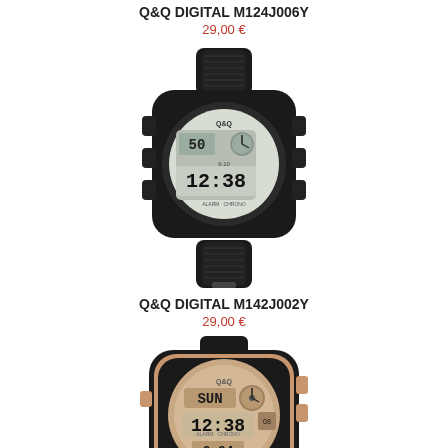Q&Q DIGITAL M124J006Y
29,00 €
[Figure (photo): Q&Q digital sport watch with black rubber strap and digital display showing time]
Q&Q DIGITAL M142J002Y
29,00 €
[Figure (photo): Q&Q digital sport watch with black and rose gold case, rubber strap, and digital display showing time]